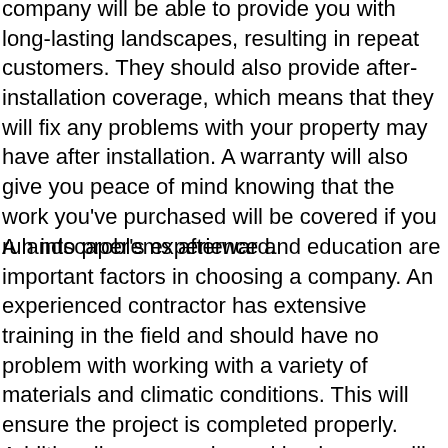company will be able to provide you with long-lasting landscapes, resulting in repeat customers. They should also provide after-installation coverage, which means that they will fix any problems with your property may have after installation. A warranty will also give you peace of mind knowing that the work you've purchased will be covered if you run into problems afterward.
A landscaper's experience and education are important factors in choosing a company. An experienced contractor has extensive training in the field and should have no problem with working with a variety of materials and climatic conditions. This will ensure the project is completed properly. Additionally, an experienced landscaper will be able to provide you with an estimate based on the specifications of your home and garden. A good landscaping contractor will be able to give you an idea of the costs involved and their timeframes.